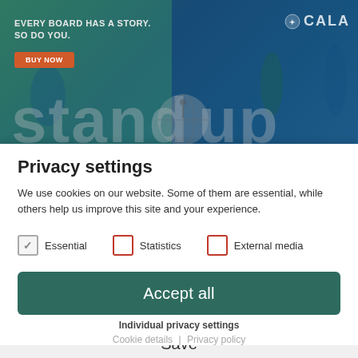[Figure (screenshot): Website banner showing 'EVERY BOARD HAS A STORY. SO DO YOU.' with a BUY NOW button on the left, a CALA logo on the right, water sports imagery in the background, and large text reading 'stand up' across the bottom of the banner.]
Privacy settings
We use cookies on our website. Some of them are essential, while others help us improve this site and your experience.
Essential (checked)
Statistics (unchecked)
External media (unchecked)
Accept all
Save
Individual privacy settings
Cookie details | Privacy policy